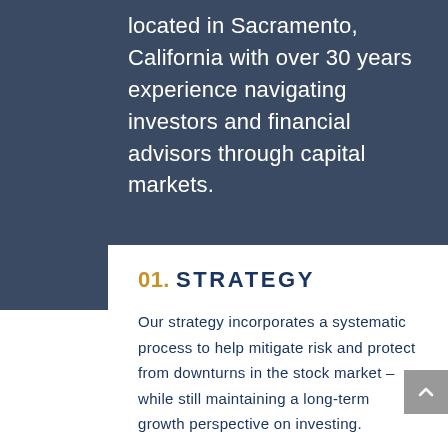located in Sacramento, California with over 30 years experience navigating investors and financial advisors through capital markets.
01. STRATEGY
Our strategy incorporates a systematic process to help mitigate risk and protect from downturns in the stock market – while still maintaining a long-term growth perspective on investing.
Our performance is rooted in a rules-based process that is always